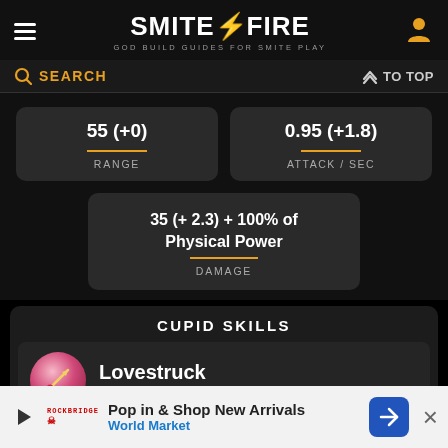SMITEFIRE - GOD BUILD GUIDES FOR SMITE PLAY
SEARCH | TO TOP
| RANGE | ATTACK / SEC |
| --- | --- |
| 55 (+0) | 0.95 (+1.8) |
| DAMAGE |
| --- |
| 35 (+ 2.3) + 100% of Physical Power |
CUPID SKILLS
Lovestruck - PASSIVE
Every h... the da... will al... (partial, ad obscured)